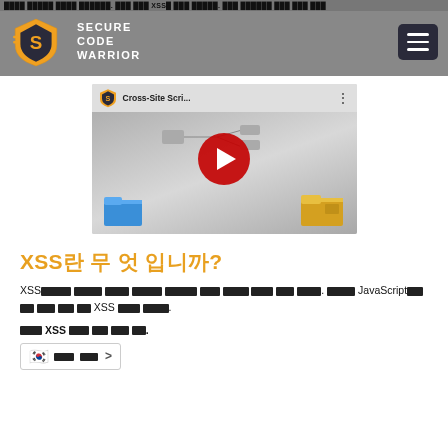XSS 크로스 사이트 스크립팅 방지 - 코딩 실수를 수정하는 방법 - Secure Code Warrior
[Figure (screenshot): Secure Code Warrior website header with logo and hamburger menu]
[Figure (screenshot): YouTube video thumbnail for Cross-Site Scripting (XSS) tutorial video by Secure Code Warrior]
XSS란 무엇 입니까?
XSS는 공격자가 악성 스크립트를 다른 사용자가 보는 웹 페이지에 삽입하는 공격입니다. 공격자는 JavaScript를 사용하여 웹 페이지를 조작하고 XSS 공격을 수행합니다.
무료 XSS 평가를 시작 하세요.
[Figure (screenshot): Korean language selector showing Korean flag emoji and language name with chevron]